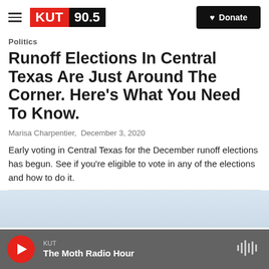KUT 90.5 — Donate
Politics
Runoff Elections In Central Texas Are Just Around The Corner. Here's What You Need To Know.
Marisa Charpentier, December 3, 2020
Early voting in Central Texas for the December runoff elections has begun. See if you're eligible to vote in any of the elections and how to do it.
[Figure (photo): Light blue sky photograph preview at bottom of article]
KUT — The Moth Radio Hour (audio player)